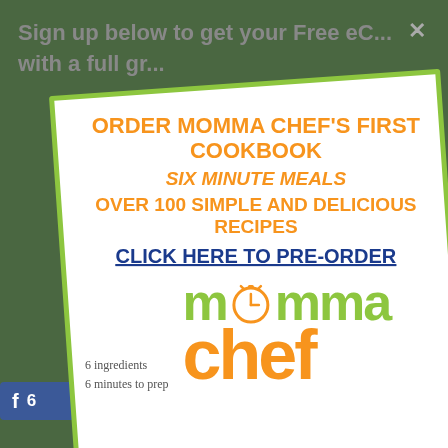Sign up below to get your Free eCookbook with a full gr...
[Figure (screenshot): Modal popup advertisement for Momma Chef's first cookbook 'Six Minute Meals' with pre-order call to action, shown over a webpage background. Features orange headline text, blue underlined CTA link, and green/orange Momma Chef logo.]
ORDER MOMMA CHEF'S FIRST COOKBOOK
SIX MINUTE MEALS
OVER 100 SIMPLE AND DELICIOUS RECIPES
CLICK HERE TO PRE-ORDER